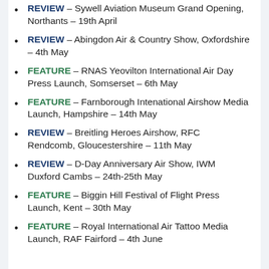REVIEW – Sywell Aviation Museum Grand Opening, Northants – 19th April
REVIEW – Abingdon Air & Country Show, Oxfordshire – 4th May
FEATURE – RNAS Yeovilton International Air Day Press Launch, Somserset – 6th May
FEATURE – Farnborough Intenational Airshow Media Launch, Hampshire – 14th May
REVIEW – Breitling Heroes Airshow, RFC Rendcomb, Gloucestershire – 11th May
REVIEW – D-Day Anniversary Air Show, IWM Duxford Cambs – 24th-25th May
FEATURE – Biggin Hill Festival of Flight Press Launch, Kent – 30th May
FEATURE – Royal International Air Tattoo Media Launch, RAF Fairford – 4th June